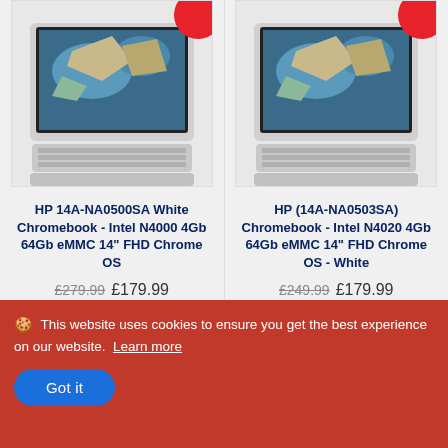[Figure (photo): HP 14A-NA0500SA White Chromebook laptop photo with red sale badge circle in top right corner]
HP 14A-NA0500SA White Chromebook - Intel N4000 4Gb 64Gb eMMC 14" FHD Chrome OS
£279.99 £179.99
[Figure (photo): HP (14A-NA0503SA) Chromebook laptop photo with red sale badge circle in top right corner]
HP (14A-NA0503SA) Chromebook - Intel N4020 4Gb 64Gb eMMC 14" FHD Chrome OS - White
£249.99 £179.99
🍪 This website uses cookies to ensure you get the best experience on our website.  Learn more
Got it